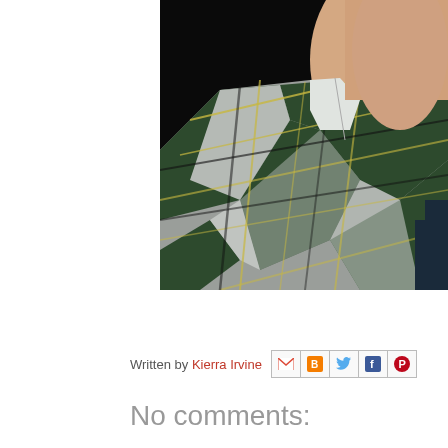[Figure (photo): Close-up photo of a person's neck/chin area wearing a green, black, white, and yellow plaid flannel shirt against a dark background]
Written by Kierra Irvine
No comments: